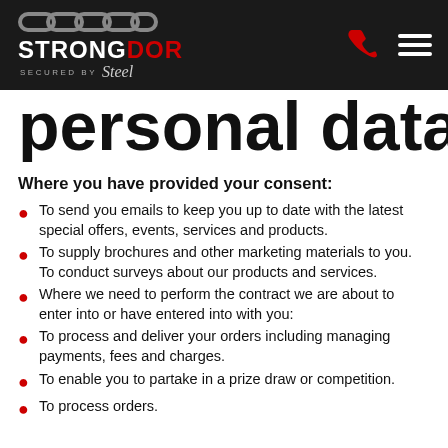STRONGDOR — SECURED BY STEEL
personal data
Where you have provided your consent:
To send you emails to keep you up to date with the latest special offers, events, services and products.
To supply brochures and other marketing materials to you. To conduct surveys about our products and services.
Where we need to perform the contract we are about to enter into or have entered into with you:
To process and deliver your orders including managing payments, fees and charges.
To enable you to partake in a prize draw or competition.
To process orders.